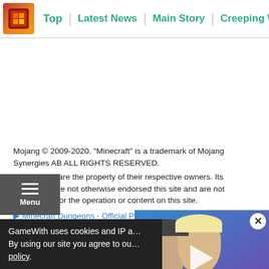Top | Latest News | Main Story | Creeping Winter | J A
Mojang © 2009-2020. "Minecraft" is a trademark of Mojang Synergies AB ALL RIGHTS RESERVED.
Trademarks are the property of their respective owners. Its licensors have not otherwise endorsed this site and are not responsible for the operation or content on this site.
▶ Minecraft Dungeons - Official Page
Tweet
GameWith uses cookies and IP a…
By using our site you agree to ou…
policy.
[Figure (photo): Video thumbnail showing two people's faces with play button overlay]